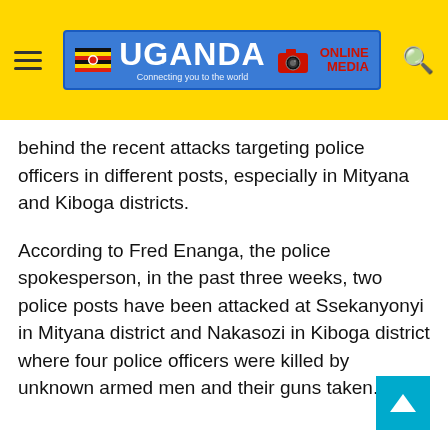Uganda Online Media — navigation header with logo
behind the recent attacks targeting police officers in different posts, especially in Mityana and Kiboga districts.
According to Fred Enanga, the police spokesperson, in the past three weeks, two police posts have been attacked at Ssekanyonyi in Mityana district and Nakasozi in Kiboga district where four police officers were killed by unknown armed men and their guns taken.